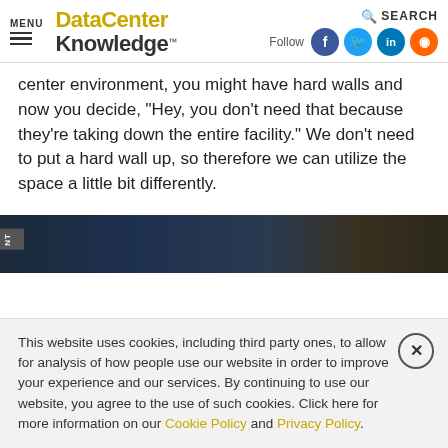MENU | DataCenter Knowledge. | Follow | SEARCH
center environment, you might have hard walls and now you decide, "Hey, you don't need that because they're taking down the entire facility." We don't need to put a hard wall up, so therefore we can utilize the space a little bit differently.
Yevgeniy Sverdlik, Editor-in-Chief, DCK:
And we talk a lot about new leases, but a big part of the business is in renewals. How is negotiating renewable data
[Figure (photo): Dark data center image visible at bottom of article content area]
This website uses cookies, including third party ones, to allow for analysis of how people use our website in order to improve your experience and our services. By continuing to use our website, you agree to the use of such cookies. Click here for more information on our Cookie Policy and Privacy Policy.